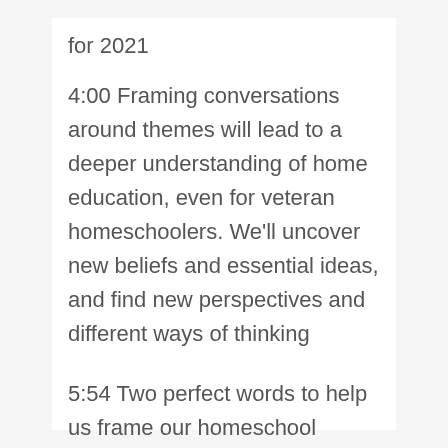for 2021
4:00   Framing conversations around themes will lead to a deeper understanding of home education, even for veteran homeschoolers. We’ll uncover new beliefs and essential ideas, and find new perspectives and different ways of thinking
5:54   Two perfect words to help us frame our homeschool stories are the focus themes today: Autonomy and Attention